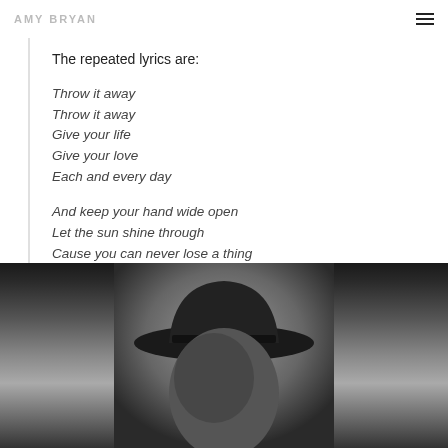AMY BRYAN
The repeated lyrics are:
Throw it away
Throw it away
Give your life
Give your love
Each and every day

And keep your hand wide open
Let the sun shine through
Cause you can never lose a thing
If it belongs to you
[Figure (photo): Black and white photo of a person wearing a hat, partially cropped at the bottom of the page]